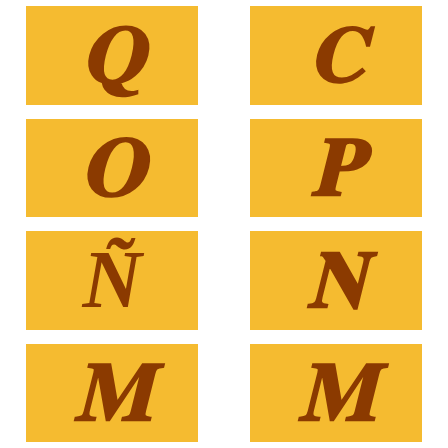[Figure (illustration): Stylized cursive/calligraphic letter Q on golden yellow background tile]
[Figure (illustration): Stylized cursive/calligraphic letter C on golden yellow background tile]
[Figure (illustration): Stylized cursive/calligraphic letter O on golden yellow background tile]
[Figure (illustration): Stylized cursive/calligraphic letter P on golden yellow background tile]
[Figure (illustration): Stylized cursive/calligraphic letter Ñ on golden yellow background tile]
[Figure (illustration): Stylized cursive/calligraphic letter N with flourish on golden yellow background tile]
[Figure (illustration): Stylized cursive/calligraphic letter M on golden yellow background tile (left)]
[Figure (illustration): Stylized cursive/calligraphic letter M on golden yellow background tile (right)]